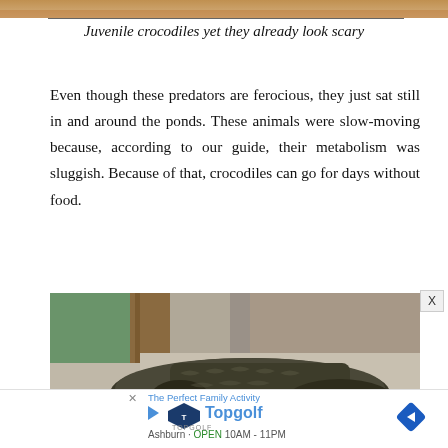[Figure (photo): Top strip of a photo showing juvenile crocodiles, warm orange-brown tones]
Juvenile crocodiles yet they already look scary
Even though these predators are ferocious, they just sat still in and around the ponds. These animals were slow-moving because, according to our guide, their metabolism was sluggish. Because of that, crocodiles can go for days without food.
[Figure (photo): Close-up photo of a crocodile resting on concrete near a wall, showing its scaly feet and body]
[Figure (screenshot): Advertisement for Topgolf showing logo, play button, blue navigation arrow, and text 'The Perfect Family Activity' with location 'Ashburn OPEN 10AM - 11PM']